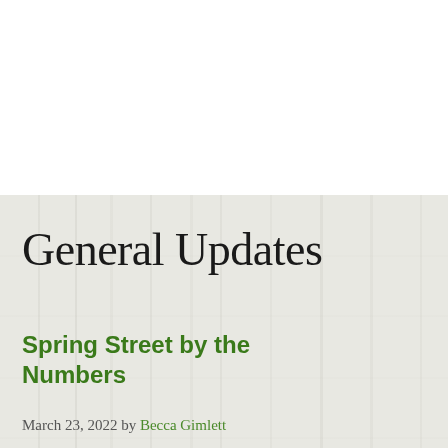General Updates
Spring Street by the Numbers
March 23, 2022 by Becca Gimlett